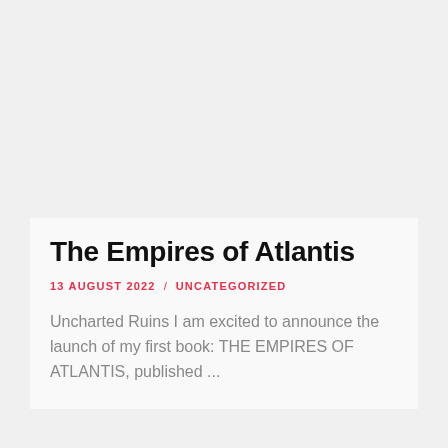The Empires of Atlantis
13 AUGUST 2022  /  UNCATEGORIZED
Uncharted Ruins I am excited to announce the launch of my first book: THE EMPIRES OF ATLANTIS, published ...